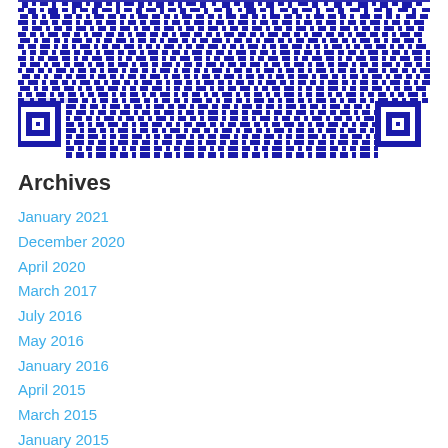[Figure (other): A blue and white QR code image]
Archives
January 2021
December 2020
April 2020
March 2017
July 2016
May 2016
January 2016
April 2015
March 2015
January 2015
December 2014